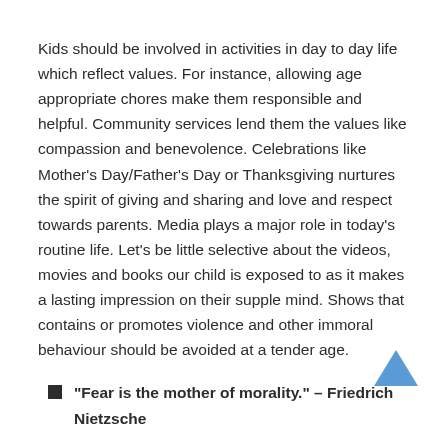Kids should be involved in activities in day to day life which reflect values. For instance, allowing age appropriate chores make them responsible and helpful. Community services lend them the values like compassion and benevolence. Celebrations like Mother's Day/Father's Day or Thanksgiving nurtures the spirit of giving and sharing and love and respect towards parents. Media plays a major role in today's routine life. Let's be little selective about the videos, movies and books our child is exposed to as it makes a lasting impression on their supple mind. Shows that contains or promotes violence and other immoral behaviour should be avoided at a tender age.
“Fear is the mother of morality.” – Friedrich Nietzsche